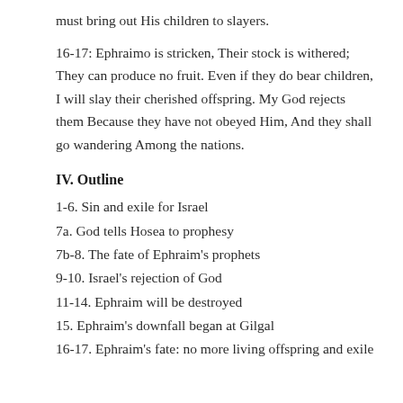must bring out His children to slayers.
16-17: Ephraimo is stricken, Their stock is withered; They can produce no fruit. Even if they do bear children, I will slay their cherished offspring. My God rejects them Because they have not obeyed Him, And they shall go wandering Among the nations.
IV. Outline
1-6. Sin and exile for Israel
7a. God tells Hosea to prophesy
7b-8. The fate of Ephraim's prophets
9-10. Israel's rejection of God
11-14. Ephraim will be destroyed
15. Ephraim's downfall began at Gilgal
16-17. Ephraim's fate: no more living offspring and exile